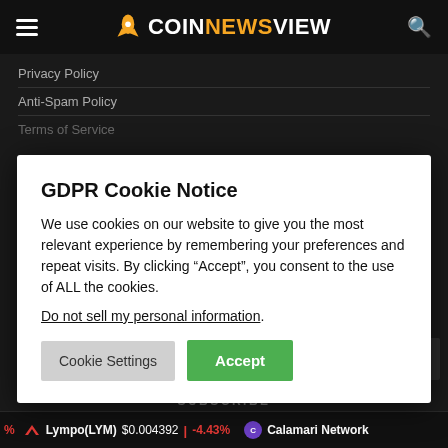COINNEWSVIEW
Privacy Policy
Anti-Spam Policy
Terms of Service
GDPR Cookie Notice
We use cookies on our website to give you the most relevant experience by remembering your preferences and repeat visits. By clicking “Accept”, you consent to the use of ALL the cookies.
Do not sell my personal information.
Cookie Settings  Accept
SUBSCRIBE
Lympo(LYM) $0.004392 -4.43%  Calamari Network